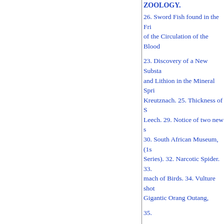ZOOLOGY.
26. Sword Fish found in the Fri of the Circulation of the Blood
23. Discovery of a New Substan and Lithion in the Mineral Spri Kreutznach. 25. Thickness of S Leech. 29. Notice of two new s 30. South African Museum, (1s Series). 32. Narcotic Spider. 33. mach of Birds. 34. Vulture shot Gigantic Orang Outang,
35.
201-207
BOTANY.
86. Irish Furze, Broom, and Yev
ARTS.